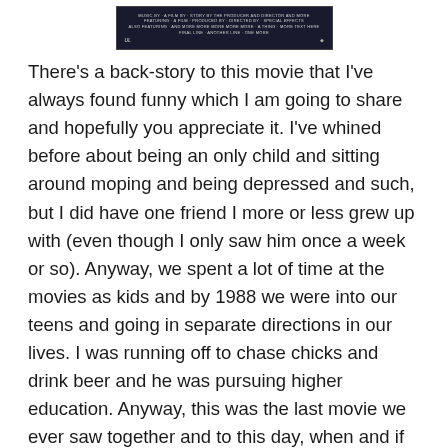[Figure (photo): Movie banner/poster image with dark background and small text credits, with logos on left and right sides]
There's a back-story to this movie that I've always found funny which I am going to share and hopefully you appreciate it. I've whined before about being an only child and sitting around moping and being depressed and such, but I did have one friend I more or less grew up with (even though I only saw him once a week or so). Anyway, we spent a lot of time at the movies as kids and by 1988 we were into our teens and going in separate directions in our lives. I was running off to chase chicks and drink beer and he was pursuing higher education. Anyway, this was the last movie we ever saw together and to this day, when and if we talk, we still argue over whether or not it was any good. I've always claimed I liked it  and he thought it was total crap.